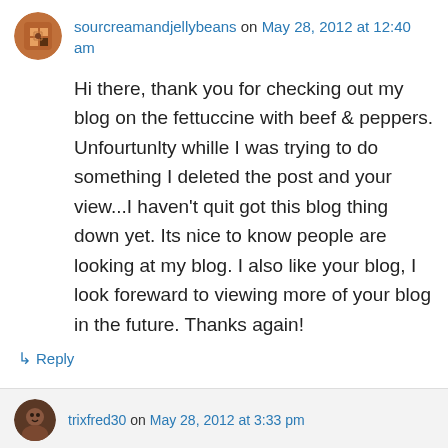sourcreamandjellybeans on May 28, 2012 at 12:40 am
Hi there, thank you for checking out my blog on the fettuccine with beef & peppers. Unfourtunlty whille I was trying to do something I deleted the post and your view...I haven’t quit got this blog thing down yet. Its nice to know people are looking at my blog. I also like your blog, I look foreward to viewing more of your blog in the future. Thanks again!
↳ Reply
trixfred30 on May 28, 2012 at 3:33 pm
My plate of sourcebean is a bit of difficult...